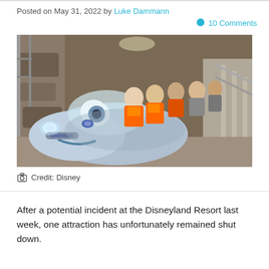Posted on May 31, 2022 by Luke Dammann
💬 10 Comments
[Figure (photo): A Disney Cars-themed ride vehicle shaped like a silver cartoon car with large eyes, occupied by several workers wearing orange safety vests, inside what appears to be a theme park attraction tunnel under construction or maintenance.]
📷 Credit: Disney
After a potential incident at the Disneyland Resort last week, one attraction has unfortunately remained shut down.